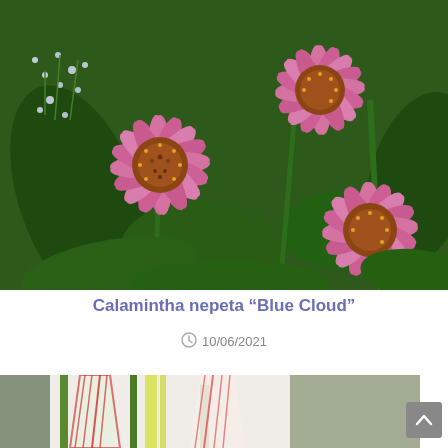[Figure (photo): Close-up photograph of pink Echinacea (coneflower) blooms with orange-brown centers, surrounded by green foliage and small white-blue flowers in the background.]
Calamintha nepeta “Blue Cloud”
10/06/2021
[Figure (photo): Partial photograph of red and white striped lily flowers with green stems visible at the bottom of the page.]